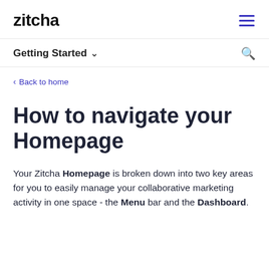zitcha
Getting Started
< Back to home
How to navigate your Homepage
Your Zitcha Homepage is broken down into two key areas for you to easily manage your collaborative marketing activity in one space - the Menu bar and the Dashboard.